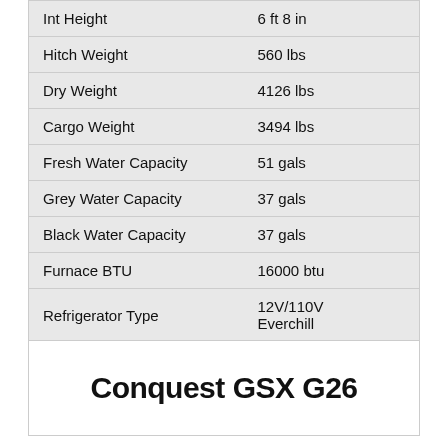| Specification | Value |
| --- | --- |
| Int Height | 6 ft 8 in |
| Hitch Weight | 560 lbs |
| Dry Weight | 4126 lbs |
| Cargo Weight | 3494 lbs |
| Fresh Water Capacity | 51 gals |
| Grey Water Capacity | 37 gals |
| Black Water Capacity | 37 gals |
| Furnace BTU | 16000 btu |
| Refrigerator Type | 12V/110V Everchill |
| Refrigerator Size | 10.7 cu ft |
Conquest GSX G26